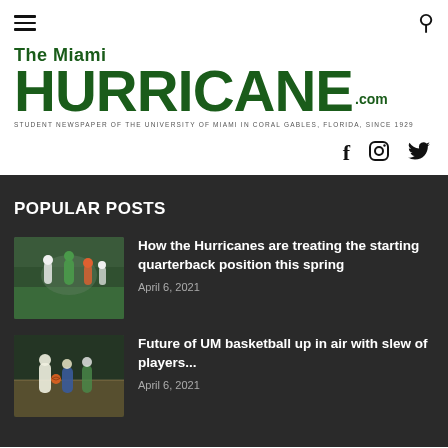The Miami HURRICANE.com — STUDENT NEWSPAPER OF THE UNIVERSITY OF MIAMI IN CORAL GABLES, FLORIDA, SINCE 1929
POPULAR POSTS
[Figure (photo): Football players on a field during spring practice, players wearing Miami Hurricanes uniforms]
How the Hurricanes are treating the starting quarterback position this spring
April 6, 2021
[Figure (photo): Basketball players during a game under indoor arena lighting]
Future of UM basketball up in air with slew of players...
April 6, 2021